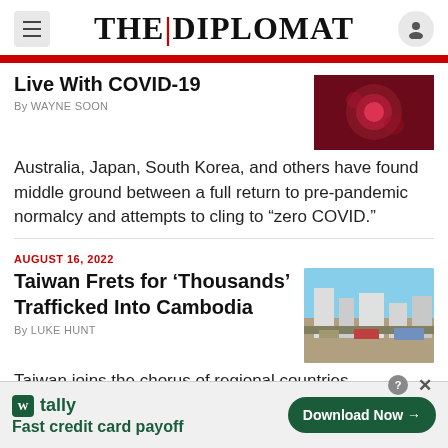THE | DIPLOMAT
Live With COVID-19
By WAYNE SOON
Australia, Japan, South Korea, and others have found middle ground between a full return to pre-pandemic normalcy and attempts to cling to “zero COVID.”
AUGUST 16, 2022
Taiwan Frets for ‘Thousands’ Trafficked Into Cambodia
By LUKE HUNT
Taiwan joins the chorus of regional countries expressing concerns about human trafficking in
tally
Fast credit card payoff
Download Now